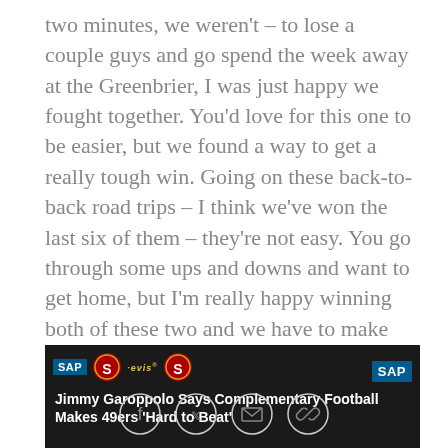two minutes, we weren't – to lose a couple guys and go spend the week away at the Greenbrier, I was just happy we fought together. You'd love for this one to be easier, but we found a way to get a really tough win. Going on these back-to-back road trips – I think we've won the last six of them – they're not easy. You go through some ups and downs and want to get home, but I'm really happy winning both of these two and we have to make sure we don't have a let up coming back [home] because we have done that a little bit in the past after being on the road twice. [We'll] remind the guys to get some rest these next two days, but we can't let up after that.
[Figure (screenshot): Video banner with SAP and 49ers logos showing 'Jimmy Garoppolo Says Complementary Football Makes 49ers Hard to Beat']
Jimmy Garoppolo Says Complementary Football Makes 49ers 'Hard to Beat'